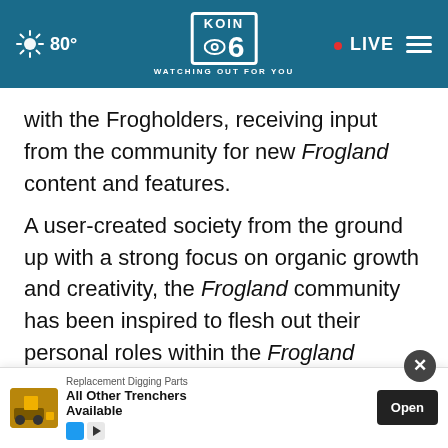80° KOIN 6 WATCHING OUT FOR YOU • LIVE
with the Frogholders, receiving input from the community for new Frogland content and features.
A user-created society from the ground up with a strong focus on organic growth and creativity, the Frogland community has been inspired to flesh out their personal roles within the Frogland metaverse. Since the project's launch, community members have self-organized into groups
[Figure (screenshot): Advertisement overlay: Replacement Digging Parts - All Other Trenchers Available, with Open button]